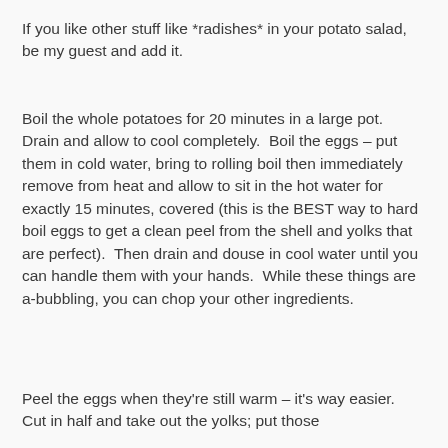If you like other stuff like *radishes* in your potato salad, be my guest and add it.
Boil the whole potatoes for 20 minutes in a large pot.  Drain and allow to cool completely.  Boil the eggs – put them in cold water, bring to rolling boil then immediately remove from heat and allow to sit in the hot water for exactly 15 minutes, covered (this is the BEST way to hard boil eggs to get a clean peel from the shell and yolks that are perfect).  Then drain and douse in cool water until you can handle them with your hands.  While these things are a-bubbling, you can chop your other ingredients.
Peel the eggs when they're still warm – it's way easier.  Cut in half and take out the yolks; put those in a separate dish. Chop the whites fine, then...